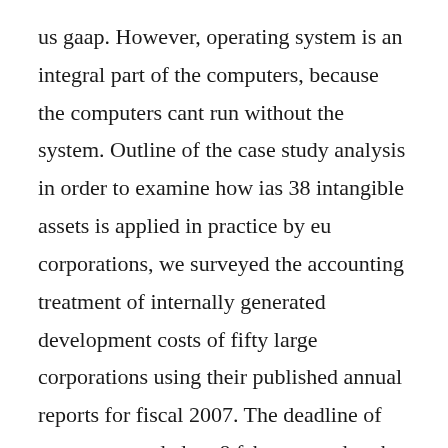us gaap. However, operating system is an integral part of the computers, because the computers cant run without the system. Outline of the case study analysis in order to examine how ias 38 intangible assets is applied in practice by eu corporations, we surveyed the accounting treatment of internally generated development costs of fifty large corporations using their published annual reports for fiscal 2007. The deadline of comments ended on 8 february and at the time of writing the iasb was considering the responses received. We have gathered